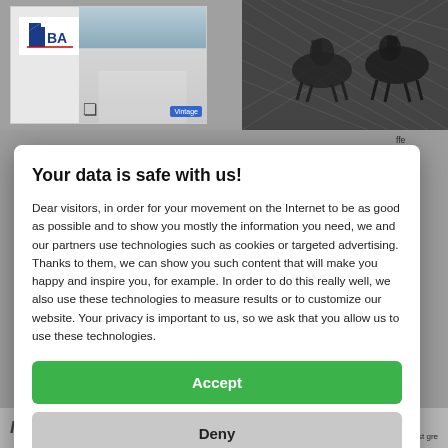[Figure (screenshot): Background webpage with FBA logo and building photo on left, historical engraving illustration on right, partially visible article text on right side and bottom strip with italic text and article snippet.]
Your data is safe with us!
Dear visitors, in order for your movement on the Internet to be as good as possible and to show you mostly the information you need, we and our partners use technologies such as cookies or targeted advertising. Thanks to them, we can show you such content that will make you happy and inspire you, for example. In order to do this really well, we also use these technologies to measure results or to customize our website. Your privacy is important to us, so we ask that you allow us to use these technologies.
Accept
Deny
Set